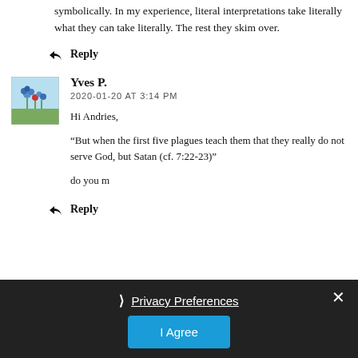symbolically. In my experience, literal interpretations take literally what they can take literally. The rest they skim over.
Reply
Yves P.
2020-01-20 AT 3:14 PM
Hi Andries,
“But when the first five plagues teach them that they really do not serve God, but Satan (cf. 7:22-23)”
do you m
Reply
Privacy Preferences
I Agree